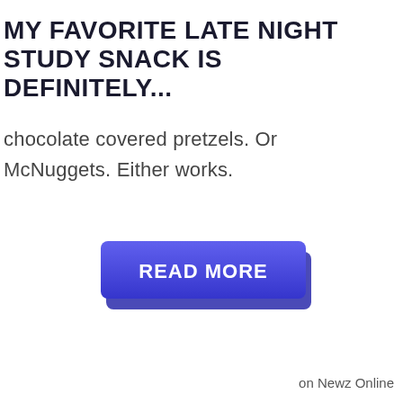MY FAVORITE LATE NIGHT STUDY SNACK IS DEFINITELY...
chocolate covered pretzels. Or McNuggets. Either works.
[Figure (other): A blue 3D-style button with white bold text reading READ MORE]
on Newz Online